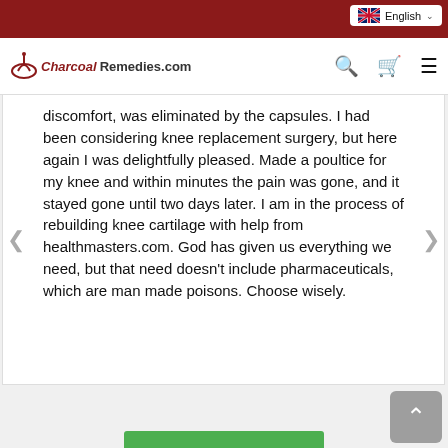CharcoalRemedies.com
discomfort, was eliminated by the capsules. I had been considering knee replacement surgery, but here again I was delightfully pleased. Made a poultice for my knee and within minutes the pain was gone, and it stayed gone until two days later. I am in the process of rebuilding knee cartilage with help from healthmasters.com. God has given us everything we need, but that need doesn't include pharmaceuticals, which are man made poisons. Choose wisely.